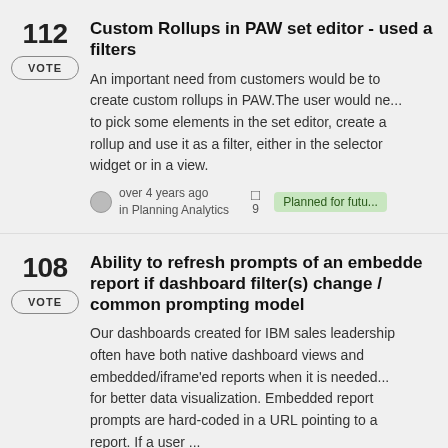112 VOTE — Custom Rollups in PAW set editor - used as filters
An important need from customers would be to create custom rollups in PAW. The user would need to pick some elements in the set editor, create a rollup and use it as a filter, either in the selector widget or in a view.
over 4 years ago in Planning Analytics — 9 comments — Planned for futu...
108 VOTE — Ability to refresh prompts of an embedded report if dashboard filter(s) change / common prompting model
Our dashboards created for IBM sales leadership often have both native dashboard views and embedded/iframe'ed reports when it is needed for better data visualization. Embedded report prompts are hard-coded in a URL pointing to a report. If a user ...